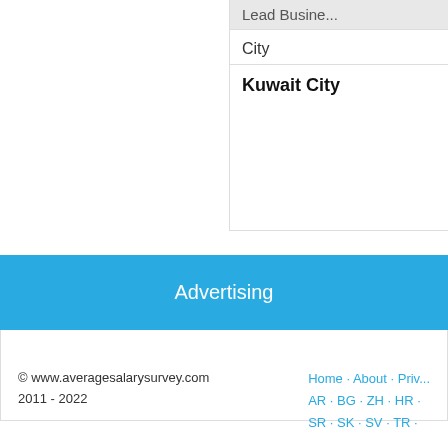| Lead Busine... | City | Kuwait City |
| --- | --- | --- |
Advertising
© www.averagesalarysurvey.com 2011 - 2022  Home · About · Priv... AR · BG · ZH · HR ... SR · SK · SV · TR ...